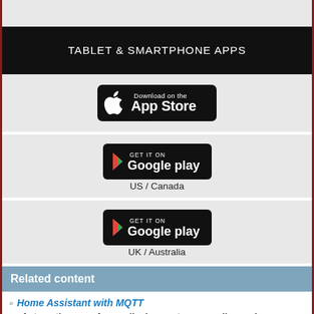TABLET & SMARTPHONE APPS
[Figure (logo): Download on the App Store badge]
[Figure (logo): Get it on Google Play badge - US / Canada]
US / Canada
[Figure (logo): Get it on Google Play badge - UK / Australia]
UK / Australia
Related content
Home Assistant with MQTT
Automating your four walls does not necessarily require commercial solutions. With a little skill, you can develop your